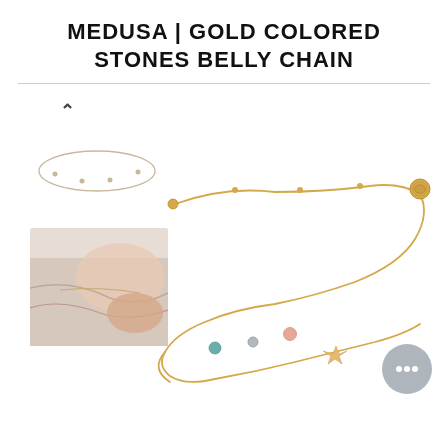MEDUSA | GOLD COLORED STONES BELLY CHAIN
[Figure (photo): Product page screenshot showing a gold colored stones belly chain with thumbnail images on the left side and a main product photo of the chain on the right. Thumbnails include a simple chain view and a lifestyle photo of the chain worn. The main image shows the gold chain with colorful stones laid flat on white background. A chat bubble icon is visible in the bottom right corner.]